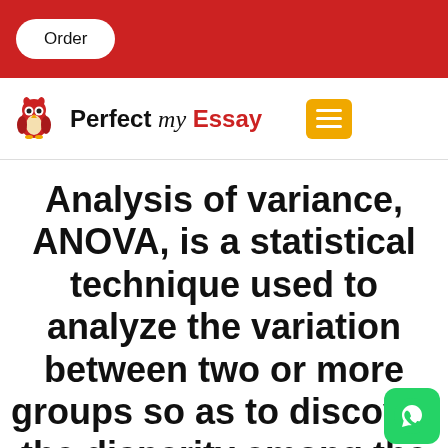Order
[Figure (logo): Perfect my Essay logo with owl icon and hamburger menu button]
Analysis of variance, ANOVA, is a statistical technique used to analyze the variation between two or more groups so as to discover the disparity among the group means. Analysis of variance is used to examine the general...